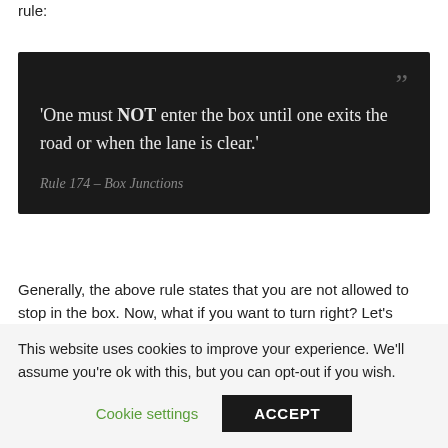rule:
[Figure (other): Dark quote box with quotation mark icon, white text reading: 'One must NOT enter the box until one exits the road or when the lane is clear.' and grey italic attribution: Rule 174 – Box Junctions]
Generally, the above rule states that you are not allowed to stop in the box. Now, what if you want to turn right? Let's
This website uses cookies to improve your experience. We'll assume you're ok with this, but you can opt-out if you wish.
Cookie settings   ACCEPT